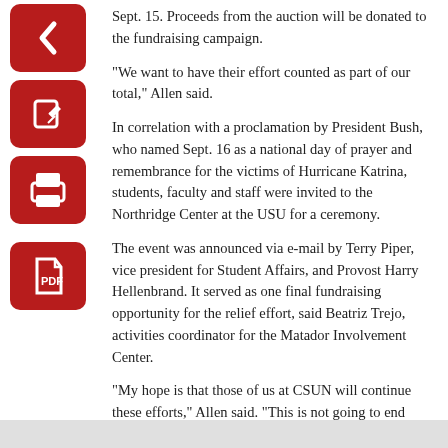Sept. 15. Proceeds from the auction will be donated to the fundraising campaign.
“We want to have their effort counted as part of our total,” Allen said.
In correlation with a proclamation by President Bush, who named Sept. 16 as a national day of prayer and remembrance for the victims of Hurricane Katrina, students, faculty and staff were invited to the Northridge Center at the USU for a ceremony.
The event was announced via e-mail by Terry Piper, vice president for Student Affairs, and Provost Harry Hellenbrand. It served as one final fundraising opportunity for the relief effort, said Beatriz Trejo, activities coordinator for the Matador Involvement Center.
“My hope is that those of us at CSUN will continue these efforts,” Allen said. “This is not going to end tomorrow.”
Michael Salseda can be reached at michael.salseda@gmail.com